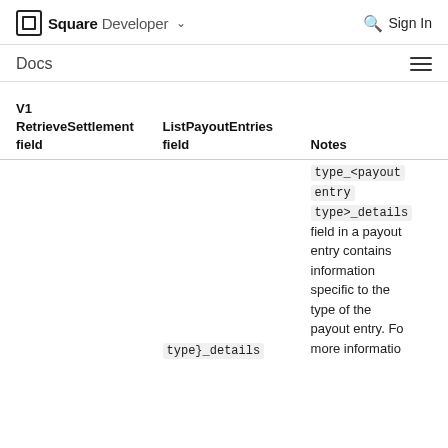Square Developer   Sign In
Docs
| V1 RetrieveSettlement field | ListPayoutEntries field | Notes |
| --- | --- | --- |
|  | type}_details | type_<payout entry type>_details field in a payout entry contains information specific to the type of the payout entry. For more information |